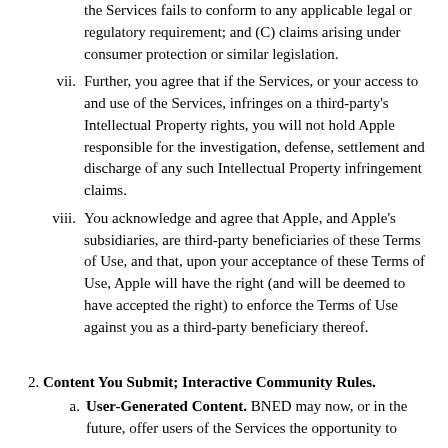the Services fails to conform to any applicable legal or regulatory requirement; and (C) claims arising under consumer protection or similar legislation.
Further, you agree that if the Services, or your access to and use of the Services, infringes on a third-party's Intellectual Property rights, you will not hold Apple responsible for the investigation, defense, settlement and discharge of any such Intellectual Property infringement claims.
You acknowledge and agree that Apple, and Apple's subsidiaries, are third-party beneficiaries of these Terms of Use, and that, upon your acceptance of these Terms of Use, Apple will have the right (and will be deemed to have accepted the right) to enforce the Terms of Use against you as a third-party beneficiary thereof.
2. Content You Submit; Interactive Community Rules.
a. User-Generated Content. BNED may now, or in the future, offer users of the Services the opportunity to